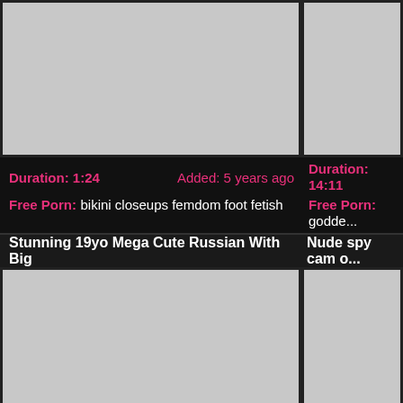[Figure (screenshot): Video thumbnail placeholder (gray) for bikini closeups femdom foot fetish video]
Duration: 1:24   Added: 5 years ago
Free Porn: bikini closeups femdom foot fetish
Stunning 19yo Mega Cute Russian With Big
[Figure (screenshot): Video thumbnail placeholder (gray) for right column top video (goddess)]
Duration: 14:11
Free Porn: godd...
Nude spy cam o...
[Figure (screenshot): Video thumbnail placeholder (gray) for russian stunning video]
Duration: 26:00   Added: 5 years ago
Free Porn: russian stunning
[Figure (screenshot): Video thumbnail placeholder (gray) for beach video]
Duration: 5:34
Free Porn: beach f...